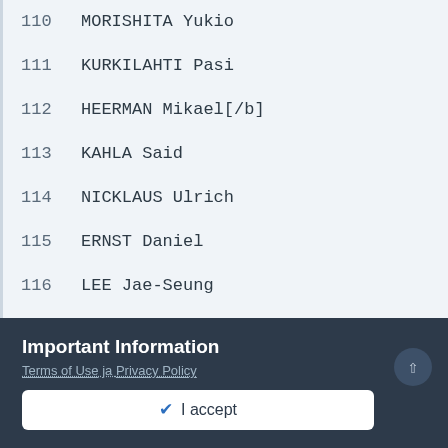110    MORISHITA Yukio
111    KURKILAHTI Pasi
112    HEERMAN Mikael[/b]
113    KAHLA Said
114    NICKLAUS Ulrich
115    ERNST Daniel
116    LEE Jae-Seung
117    KIM Yong Kweon
Important Information
Terms of Use ja Privacy Policy
✓  I accept